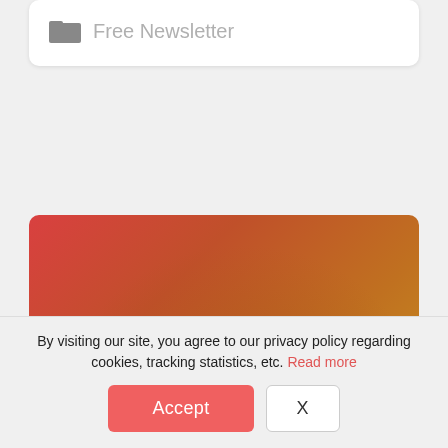Free Newsletter
[Figure (illustration): Blurred warm gradient background (red to orange-gold) with text overlay: 'Unlock this post by becoming a member.']
Unlock this post by becoming a member.
By visiting our site, you agree to our privacy policy regarding cookies, tracking statistics, etc. Read more
Accept
X